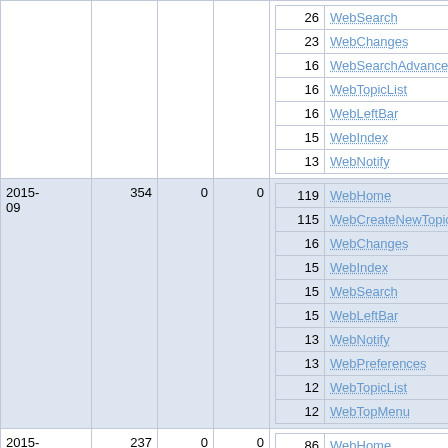| Month | Views | Col3 | Col4 | Top Pages |
| --- | --- | --- | --- | --- |
|  |  |  |  | 26 WebSearch
23 WebChanges
16 WebSearchAdvanced
16 WebTopicList
16 WebLeftBar
15 WebIndex
13 WebNotify |
| 2015-09 | 354 | 0 | 0 | 119 WebHome
115 WebCreateNewTopic
16 WebChanges
15 WebIndex
15 WebSearch
15 WebLeftBar
13 WebNotify
13 WebPreferences
12 WebTopicList
12 WebTopMenu |
| 2015-08 | 237 | 0 | 0 | 86 WebHome
32 WebCreateNewTopic
17 WebSearchAdvanced
16 WebSearch |